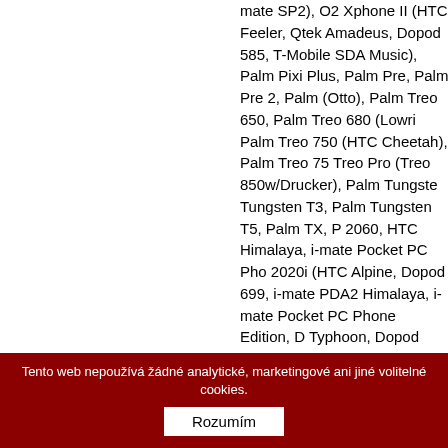mate SP2), O2 Xphone II (HTC Feeler, Qtek Amadeus, Dopod 585, T-Mobile SDA Music), Palm Pixi Plus, Palm Pre, Palm Pre 2, Palm (Otto), Palm Treo 650, Palm Treo 680 (Lowri Palm Treo 750 (HTC Cheetah), Palm Treo 75 Treo Pro (Treo 850w/Drucker), Palm Tungste Tungsten T3, Palm Tungsten T5, Palm TX, P 2060, HTC Himalaya, i-mate Pocket PC Pho 2020i (HTC Alpine, Dopod 699, i-mate PDA2 Himalaya, i-mate Pocket PC Phone Edition, D Typhoon, Dopod 565, i-mate SP3), Qtek 802 8060 (Qtek 8080, HTC Voyager, Dopod 535, Voyager, i-mate SP2, Dopod 535, O2 Xphone C550), Qtek 8300 (HTC Tornado Tempo, i-ma Tornado Noble, Dopod 577W, i-mate SP5, O2 StarTrek 160, Dopod 710/StrTrk S300), Qtek MDA Pro, XDA Exec, Dopod 900, i-mate JAS 700, i-mate PDA2k, O2 XDA III, XDA IIs), Qte mate K-JAM), Qtek 9600 (HTC Hermes 100/2 JasJam), Qtek A9100 (HTC Wizard 110/P430 Dopod P100), Qtek G200 (HTC Artemis, MDA (HTC Magician, O2 XDA II mini/mini Black, M Qtek S110 (HTC Magician, O2 XDA II mini/m Edition, Dopo, Qtek S200 (HTC Prophet, Dop (HTC Muse/Melody), Samsung GT-B5620 Om B7320L OmniaPRO, Samsung GT-B7330 Om B7610 OmniaPRO (Samsung Louvre), Sams Samsung GT-C6625 Valencia, Samsung GT-
Tento web nepoužívá žádné analytické, marketingové ani jiné volitelné cookies.
Rozumím